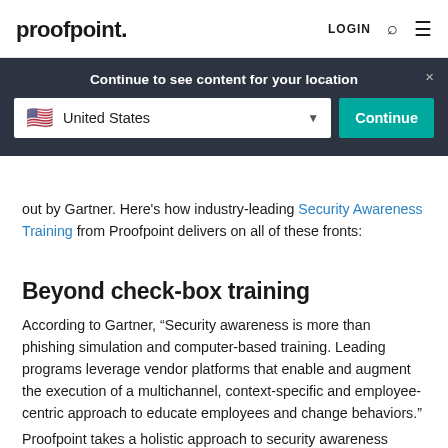proofpoint. LOGIN 🔍 ☰
[Figure (screenshot): Dark banner overlay with 'Continue to see content for your location' message, a United States flag dropdown selector, and a teal 'Continue' button with a close X icon]
out by Gartner. Here's how industry-leading Security Awareness Training from Proofpoint delivers on all of these fronts:
Beyond check-box training
According to Gartner, "Security awareness is more than phishing simulation and computer-based training. Leading programs leverage vendor platforms that enable and augment the execution of a multichannel, context-specific and employee-centric approach to educate employees and change behaviors."
Proofpoint takes a holistic approach to security awareness